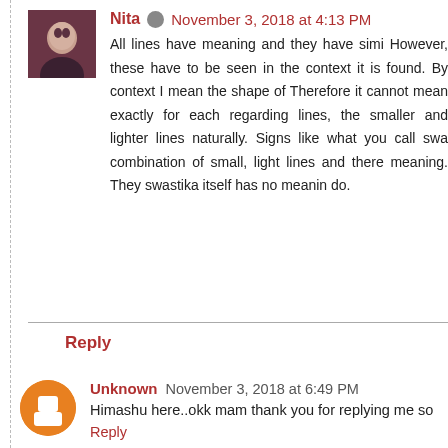Nita  November 3, 2018 at 4:13 PM
All lines have meaning and they have simi... However, these have to be seen in the context... it is found. By context I mean the shape of... Therefore it cannot mean exactly for each... regarding lines, the smaller and lighter lines... naturally. Signs like what you call swa... combination of small, light lines and there... meaning. They swastika itself has no meanin... do.
Reply
Unknown  November 3, 2018 at 6:49 PM
Himashu here..okk mam thank you for replying me so
Reply